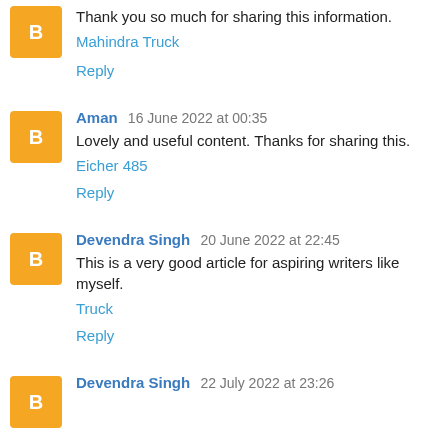Thank you so much for sharing this information.
Mahindra Truck
Reply
Aman 16 June 2022 at 00:35
Lovely and useful content. Thanks for sharing this.
Eicher 485
Reply
Devendra Singh 20 June 2022 at 22:45
This is a very good article for aspiring writers like myself.
Truck
Reply
Devendra Singh 22 July 2022 at 23:26